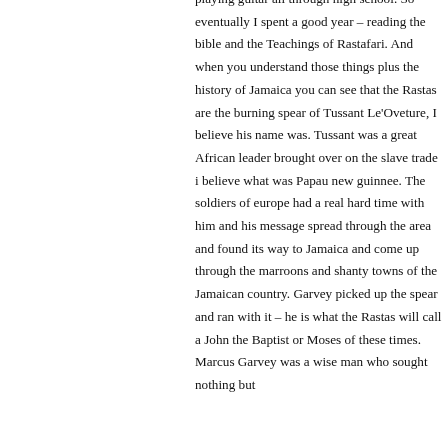playing guitar all through high school. So eventually I spent a good year – reading the bible and the Teachings of Rastafari. And when you understand those things plus the history of Jamaica you can see that the Rastas are the burning spear of Tussant Le'Oveture, I believe his name was. Tussant was a great African leader brought over on the slave trade i believe what was Papau new guinnee. The soldiers of europe had a real hard time with him and his message spread through the area and found its way to Jamaica and come up through the marroons and shanty towns of the Jamaican country. Garvey picked up the spear and ran with it – he is what the Rastas will call a John the Baptist or Moses of these times. Marcus Garvey was a wise man who sought nothing but